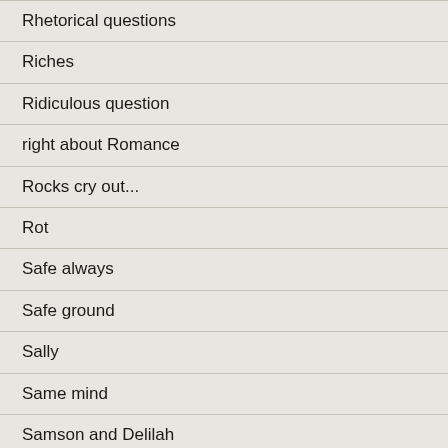Rhetorical questions
Riches
Ridiculous question
right about Romance
Rocks cry out...
Rot
Safe always
Safe ground
Sally
Same mind
Samson and Delilah
Sanctify